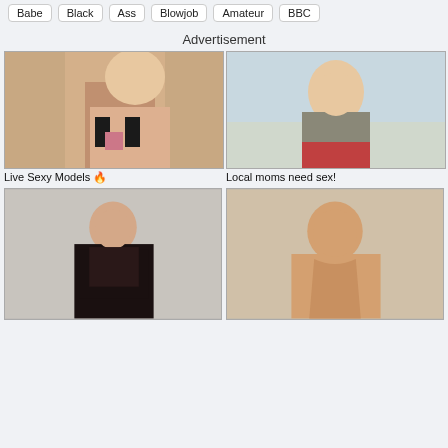Babe  Black  Ass  Blowjob  Amateur  BBC
Advertisement
[Figure (photo): Adult advertisement image - woman posing]
Live Sexy Models 🔥
[Figure (photo): Adult advertisement image - woman outdoors in winter]
Local moms need sex!
[Figure (photo): Adult content thumbnail - woman in black lingerie]
[Figure (photo): Adult content thumbnail - woman smiling]